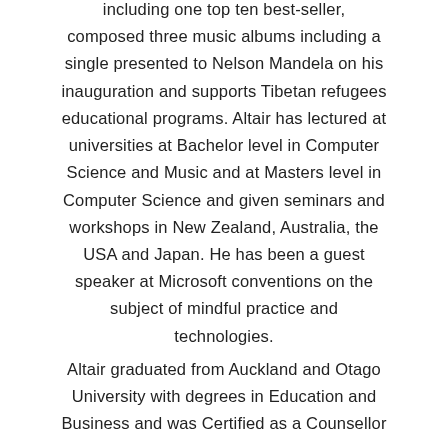including one top ten best-seller, composed three music albums including a single presented to Nelson Mandela on his inauguration and supports Tibetan refugees educational programs. Altair has lectured at universities at Bachelor level in Computer Science and Music and at Masters level in Computer Science and given seminars and workshops in New Zealand, Australia, the USA and Japan. He has been a guest speaker at Microsoft conventions on the subject of mindful practice and technologies.
Altair graduated from Auckland and Otago University with degrees in Education and Business and was Certified as a Counsellor